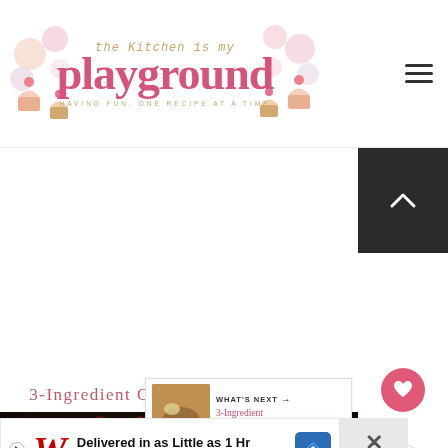[Figure (logo): The Kitchen is My Playground blog logo with cupcake decorations, pink text reading 'playground' and tagline 'having fun, one recipe at a time']
3-Ingredient Crescent Sausage Bites
[Figure (photo): Dark food photography showing berries and green leaves on a dark surface]
Delivered in as Little as 1 Hr Walgreens Photo
WHAT'S NEXT → 3-Ingredient Crescent...